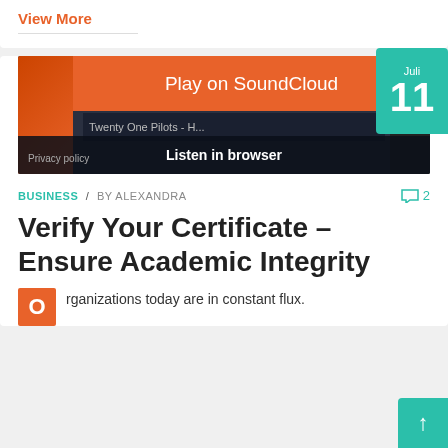View More
[Figure (screenshot): SoundCloud embedded player widget showing 'Play on SoundCloud' orange banner and 'Listen in browser' bar with 'Twenty One Pilots - H...' track name and Privacy policy link]
BUSINESS / BY ALEXANDRA   • 2
Verify Your Certificate – Ensure Academic Integrity
rganizations today are in constant flux.